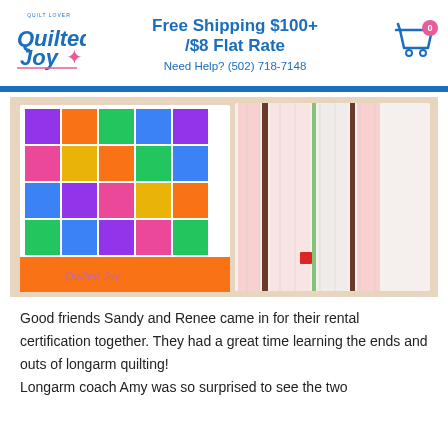[Figure (logo): Quilted Joy logo with text and fairy figure]
Free Shipping $100+ /$8 Flat Rate
Need Help? (502) 718-7148
[Figure (photo): Two quilts displayed side by side: a colorful patchwork quilt on the left and a striped pink/white/brown quilt on the right, with a Quilted Joy watermark]
Good friends Sandy and Renee came in for their rental certification together. They had a great time learning the ends and outs of longarm quilting! Longarm coach Amy was so surprised to see the two